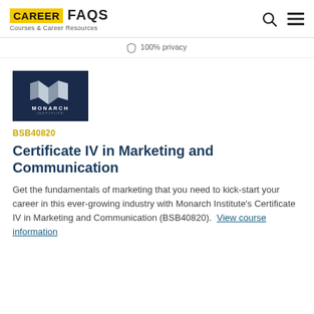CAREER FAQS — Courses & Career Resources
100% privacy
[Figure (logo): Monarch Institute logo — dark navy square with stylized M shape and text 'MONARCH INSTITUTE']
BSB40820
Certificate IV in Marketing and Communication
Get the fundamentals of marketing that you need to kick-start your career in this ever-growing industry with Monarch Institute's Certificate IV in Marketing and Communication (BSB40820).  View course information